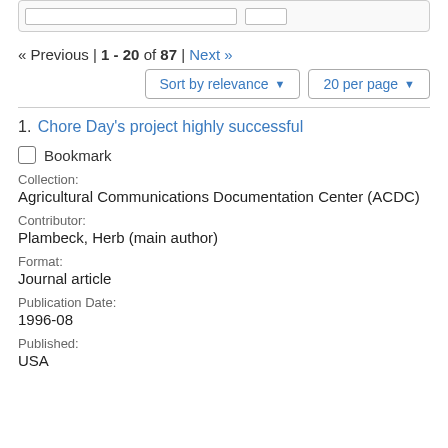« Previous | 1 - 20 of 87 | Next »
Sort by relevance ▾   20 per page ▾
1. Chore Day's project highly successful
Bookmark
Collection:
Agricultural Communications Documentation Center (ACDC)
Contributor:
Plambeck, Herb (main author)
Format:
Journal article
Publication Date:
1996-08
Published:
USA